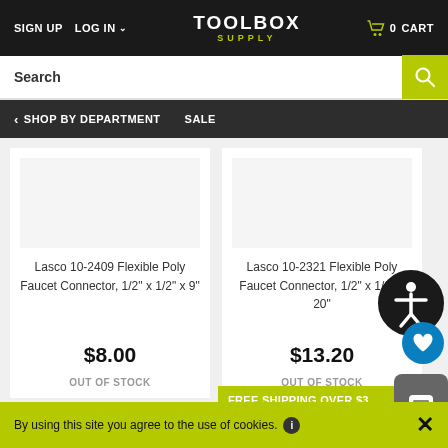SIGN UP  LOG IN  TOOLBOX SUPPLY  0 CART
Search
SHOP BY DEPARTMENT  SALE
Lasco 10-2409 Flexible Poly Faucet Connector, 1/2" x 1/2" x 9"
$8.00
OUT OF STOCK
Lasco 10-2321 Flexible Poly Faucet Connector, 1/2" x 1/2" x 20"
$13.20
OUT OF STOCK
FREE SHIPPING OVER $3
By using this site you agree to the use of cookies.